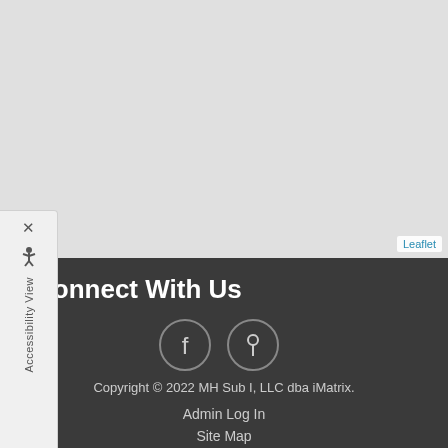[Figure (map): Gray map area with Leaflet attribution in the bottom right corner]
Accessibility View
Connect With Us
[Figure (infographic): Two circular social media icons: Facebook (f) and Pinterest (pin symbol)]
Copyright © 2022 MH Sub I, LLC dba iMatrix.
Admin Log In
Site Map